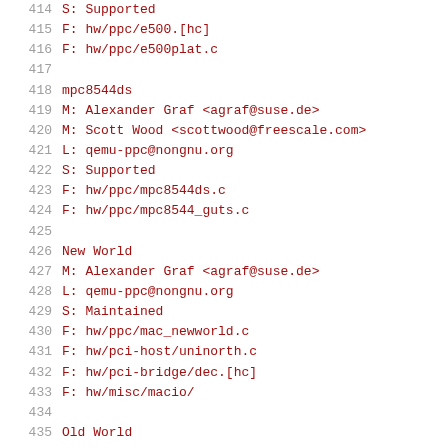414    S: Supported
415    F: hw/ppc/e500.[hc]
416    F: hw/ppc/e500plat.c
417
418    mpc8544ds
419    M: Alexander Graf <agraf@suse.de>
420    M: Scott Wood <scottwood@freescale.com>
421    L: qemu-ppc@nongnu.org
422    S: Supported
423    F: hw/ppc/mpc8544ds.c
424    F: hw/ppc/mpc8544_guts.c
425
426    New World
427    M: Alexander Graf <agraf@suse.de>
428    L: qemu-ppc@nongnu.org
429    S: Maintained
430    F: hw/ppc/mac_newworld.c
431    F: hw/pci-host/uninorth.c
432    F: hw/pci-bridge/dec.[hc]
433    F: hw/misc/macio/
434
435    Old World